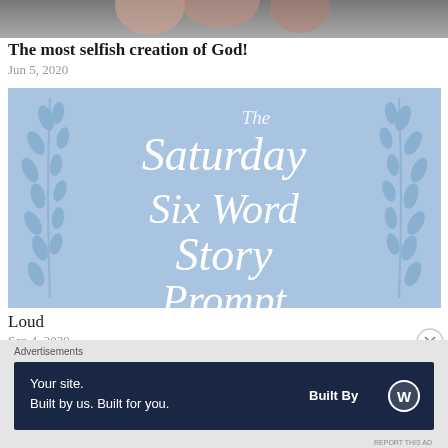[Figure (photo): Cropped bottom portion of a person's face/hand, grayscale tones]
The most selfish creation of God!
Jun 5, 2020
[Figure (illustration): Light blue decorative banner with white script text reading 'The Saturday Six Word Story' with leaf/laurel decorations on sides]
Loud
Sep 4, 2020
Advertisements
[Figure (infographic): Dark navy advertisement banner reading 'Your site. Built by us. Built for you.' with 'Built By' WordPress logo on right]